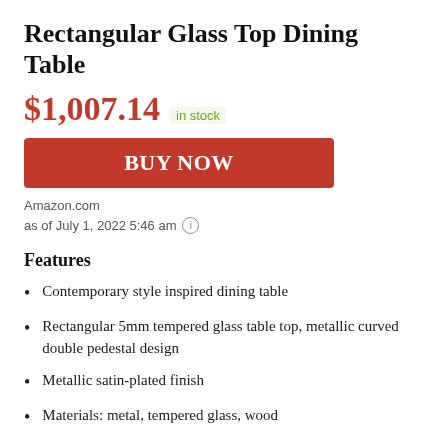Rectangular Glass Top Dining Table
$1,007.14 in stock
BUY NOW
Amazon.com
as of July 1, 2022 5:46 am
Features
Contemporary style inspired dining table
Rectangular 5mm tempered glass table top, metallic curved double pedestal design
Metallic satin-plated finish
Materials: metal, tempered glass, wood